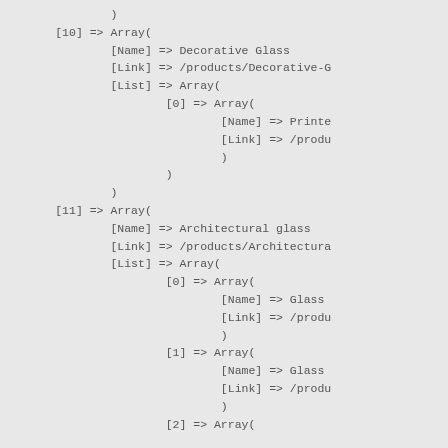)
[10] => Array(
        [Name] => Decorative Glass
        [Link] => /products/Decorative-G
        [List] => Array(
                [0] => Array(
                        [Name] => Printe
                        [Link] => /produ
                        )
                )
        )
[11] => Array(
        [Name] => Architectural glass
        [Link] => /products/Architectura
        [List] => Array(
                [0] => Array(
                        [Name] => Glass
                        [Link] => /produ
                        )
                [1] => Array(
                        [Name] => Glass
                        [Link] => /produ
                        )
                [2] => Array(